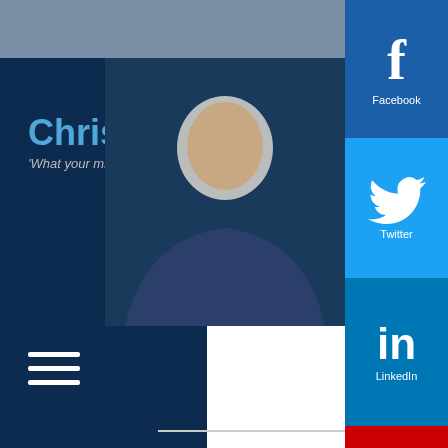Call 0800 0282
Christian Baker
'What your mind believes, you will achieve'
[Figure (photo): Photo of Christian Baker in a suit]
[Figure (logo): Facebook social icon]
[Figure (logo): Twitter social icon]
[Figure (logo): LinkedIn social icon]
[Figure (logo): YouTube social icon]
[Figure (logo): Instagram social icon]
FREE
Master Your Mind e-course Plus Relax and Unwind mp3 audio
Enter your name
Enter your e-mail